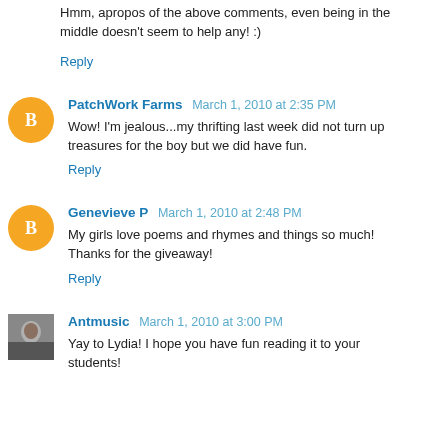Hmm, apropos of the above comments, even being in the middle doesn't seem to help any! :)
Reply
PatchWork Farms March 1, 2010 at 2:35 PM
Wow! I'm jealous...my thrifting last week did not turn up treasures for the boy but we did have fun.
Reply
Genevieve P March 1, 2010 at 2:48 PM
My girls love poems and rhymes and things so much! Thanks for the giveaway!
Reply
Antmusic March 1, 2010 at 3:00 PM
Yay to Lydia! I hope you have fun reading it to your students!